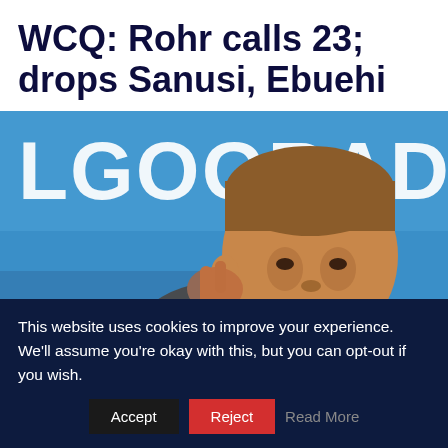WCQ: Rohr calls 23; drops Sanusi, Ebuehi
[Figure (photo): A man in a dark shirt touching his ear with his right hand, in front of a blue backdrop with partial text 'LGOGRAD' visible in white letters. A microphone is visible in the lower right.]
This website uses cookies to improve your experience. We'll assume you're okay with this, but you can opt-out if you wish.